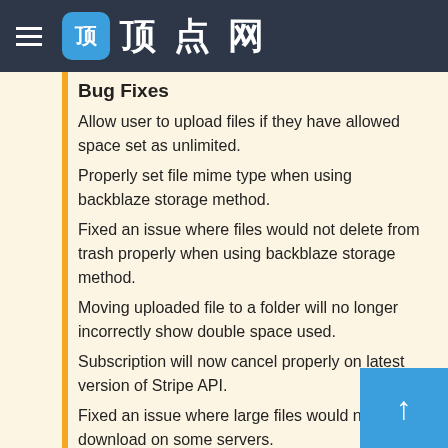顶点网
Bug Fixes
Allow user to upload files if they have allowed space set as unlimited.
Properly set file mime type when using backblaze storage method.
Fixed an issue where files would not delete from trash properly when using backblaze storage method.
Moving uploaded file to a folder will no longer incorrectly show double space used.
Subscription will now cancel properly on latest version of Stripe API.
Fixed an issue where large files would not download on some servers.
Fixed an issue where some images on site would be loaded as http when site had ssl enabled.
Prevent fails that fail extension validation from uploading.
Corrected a few visual issues with dropdowns across the si…
Fixed an issue with site logo in shared file page sometimes showing.
Chart legend items will now wrap to new line if there's not